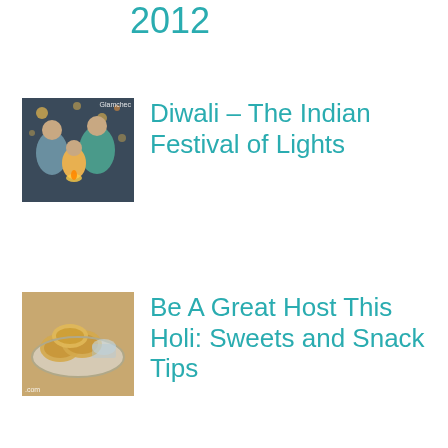2012
[Figure (photo): Family photo for Diwali article with watermark 'Glamchec']
Diwali – The Indian Festival of Lights
[Figure (photo): Indian sweets/snacks photo for Holi article with watermark '.com']
Be A Great Host This Holi: Sweets and Snack Tips